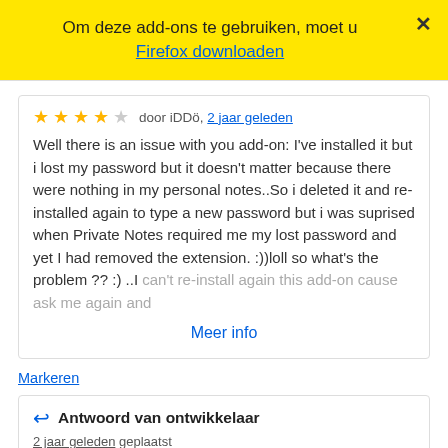Om deze add-ons te gebruiken, moet u Firefox downloaden
★★★★☆ door iDDö, 2 jaar geleden
Well there is an issue with you add-on: I've installed it but i lost my password but it doesn't matter because there were nothing in my personal notes..So i deleted it and re-installed again to type a new password but i was suprised when Private Notes required me my lost password and yet I had removed the extension. :))loll so what's the problem ?? :) ..I can't re-install again this add-on cause ask me again and
Meer info
Markeren
Antwoord van ontwikkelaar
2 jaar geleden geplaatst